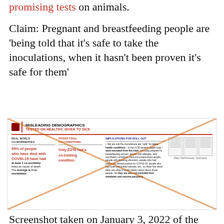promising tests on animals.
Claim: Pregnant and breastfeeding people are 'being told that it's safe to take the inoculations, when it hasn't been proven it's safe for them'
[Figure (infographic): Infographic titled 'MISLEADING DEMOGRAPHICS TESTED ON HEALTHY, GIVEN TO SICK' with an X overlay. Shows three columns: Real World Co-Morbidities (95% of people who have died with COVID-19 have had at least 1 co-morbidity listed as cause of death. The average is 4 co-morbidities), Pfizer Trial Co-Conditions (Only 21% had a co-existing condition), and Implications for Roll Out (bullet points about exclusions). Also shows Pfizer Trial Protocols - Exclusions document thumbnails.]
Screenshot taken on January 3, 2022 of the Canadian Covid Care Alliance's video